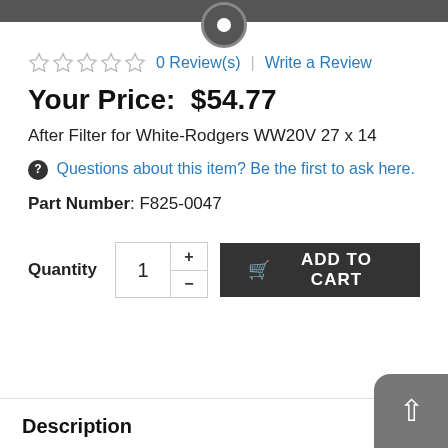☆☆☆☆☆  0 Review(s)  Write a Review
Your Price: $54.77
After Filter for White-Rodgers WW20V 27 x 14
Questions about this item? Be the first to ask here.
Part Number: F825-0047
Quantity  1  + -  ADD TO CART
Description